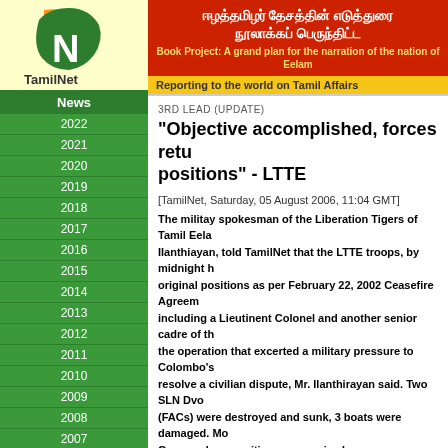[Figure (logo): TamilNet logo - orange and green N icon with TamilNet text]
ஈழத்தமிழர் தேசத்தின் எடுத்துரை நூலாக்கப் பெருந்திட்ட Book Project: A grand plan for the narration of the nation of Eelam
Reporting to the world on Tamil Affairs
3RD LEAD (UPDATE)
"Objective accomplished, forces returned to positions" - LTTE
[TamilNet, Saturday, 05 August 2006, 11:04 GMT]
The militay spokesman of the Liberation Tigers of Tamil Eelam (LTTE), Mr. Ilanthiayan, told TamilNet that the LTTE troops, by midnight had returned to their original positions as per February 22, 2002 Ceasefire Agreement. LTTE cadres including a Lieutinent Colonel and another senior cadre of the LTTE were killed in the operation that excerted a military pressure to Colombo's military establishment to resolve a civilian dispute, Mr. Ilanthirayan said. Two SLN Dvoras and two Fast Attack Crafts (FACs) were destroyed and sunk, 3 boats were damaged. More than 10 SLA Guns and ammunitions were seized.
The LTTE attacked SLA camps in Mahindapura, Selvanagar, 64th Brigade camp, Kaddaiparichchan camp, Muthur Jetty Sri Lanka Navy (SLN) camp and an Army position.
SLA camp attached to Muthur Police was also attacked.
The speedy operation was b... of the targets were overrun, b...
When asked whether it was a... LTTE military spokesman sa...
"Every military operation is li... the...